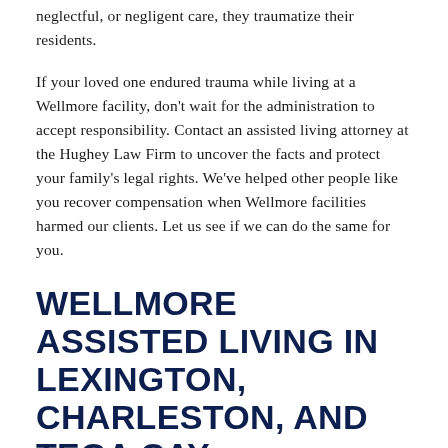neglectful, or negligent care, they traumatize their residents.
If your loved one endured trauma while living at a Wellmore facility, don't wait for the administration to accept responsibility. Contact an assisted living attorney at the Hughey Law Firm to uncover the facts and protect your family's legal rights. We've helped other people like you recover compensation when Wellmore facilities harmed our clients. Let us see if we can do the same for you.
WELLMORE ASSISTED LIVING IN LEXINGTON, CHARLESTON, AND TEGA CAY